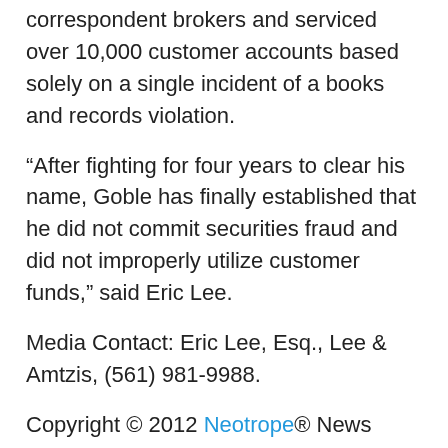correspondent brokers and serviced over 10,000 customer accounts based solely on a single incident of a books and records violation.
“After fighting for four years to clear his name, Goble has finally established that he did not commit securities fraud and did not improperly utilize customer funds,” said Eric Lee.
Media Contact: Eric Lee, Esq., Lee & Amtzis, (561) 981-9988.
Copyright © 2012 Neotrope® News Network – all rights reserved.
Related Articles